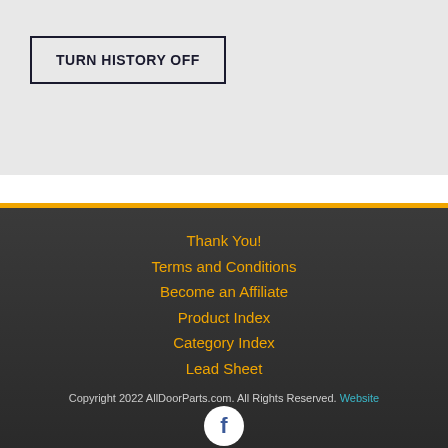TURN HISTORY OFF
Thank You!
Terms and Conditions
Become an Affiliate
Product Index
Category Index
Lead Sheet
Copyright 2022 AllDoorParts.com. All Rights Reserved. Website